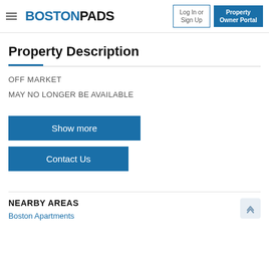BOSTONPADS | Log In or Sign Up | Property Owner Portal
Property Description
OFF MARKET
MAY NO LONGER BE AVAILABLE
Show more
Contact Us
NEARBY AREAS
Boston Apartments